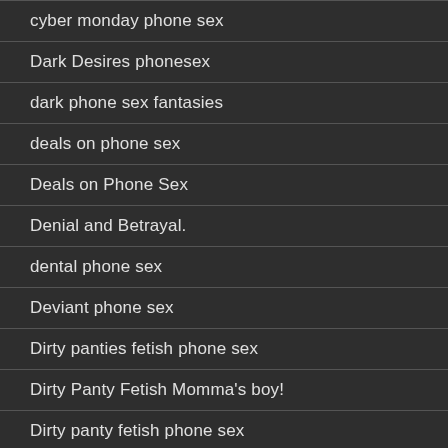cyber monday phone sex
Dark Desires phonesex
dark phone sex fantasies
deals on phone sex
Deals on Phone Sex
Denial and Betrayal.
dental phone sex
Deviant phone sex
Dirty panties fetish phone sex
Dirty Panty Fetish Momma's boy!
Dirty panty fetish phone sex
Dirty Panty Phone Sex